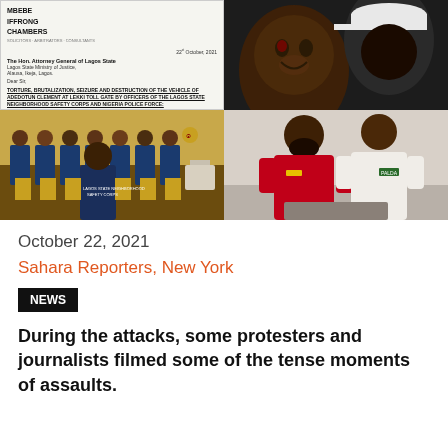[Figure (photo): Collage of four images: top-left is a document from Mbebe Iffrong Chambers law firm addressed to Attorney General of Lagos State regarding torture and brutalization at Lekki Toll Gate; top-right is a close-up photo of a person with injuries; bottom-left is a photo of Lagos State Neighborhood Safety Corps officers in uniform; bottom-right is a photo of two men standing side by side.]
October 22, 2021
Sahara Reporters, New York
NEWS
During the attacks, some protesters and journalists filmed some of the tense moments of assaults.